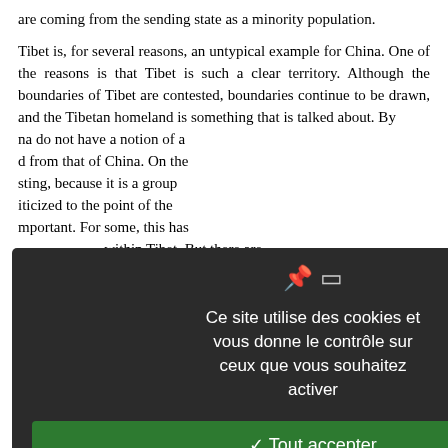are coming from the sending state as a minority population.

Tibet is, for several reasons, an untypical example for China. One of the reasons is that Tibet is such a clear territory. Although the boundaries of Tibet are contested, boundaries continue to be drawn, and the Tibetan homeland is something that is talked about. By [China] do not have a notion of a [separate homeland] from that of China. On the [other hand, it is inter]esting, because it is a group [that has been politi]ticized to the point of the [homeland being so i]mportant. For some, this has [meant independence] within Tibet. But there are [those who consider] themselves Chinese citizens

[...politicization] of Tibetan identity [... the interest of] them is that it is not only [the Tibetans invol]ved in this supranational [... other organizatio]ns are also involved. So this [...] of ethnic organization and [... those orga]nizations that are based not [only on Tibet] an independence movement [... groups] or ethnicities in addition to
[Figure (screenshot): Cookie consent modal overlay with dark background. Title says 'Ce site utilise des cookies et vous donne le contrôle sur ceux que vous souhaitez activer'. Three buttons: green 'Tout accepter', red 'Tout refuser', white 'Personnaliser'. Link at bottom: 'Politique de confidentialité'.]